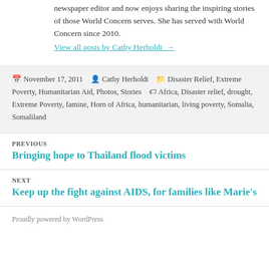newspaper editor and now enjoys sharing the inspiring stories of those World Concern serves. She has served with World Concern since 2010.
View all posts by Cathy Herholdt →
November 17, 2011  Cathy Herholdt  Disaster Relief, Extreme Poverty, Humanitarian Aid, Photos, Stories  Africa, Disaster relief, drought, Extreme Poverty, famine, Horn of Africa, humanitarian, living poverty, Somalia, Somaliland
PREVIOUS
Bringing hope to Thailand flood victims
NEXT
Keep up the fight against AIDS, for families like Marie's
Proudly powered by WordPress